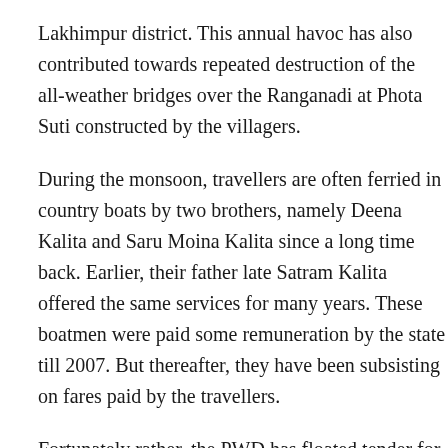Lakhimpur district. This annual havoc has also contributed towards repeated destruction of the all-weather bridges over the Ranganadi at Phota Suti constructed by the villagers.
During the monsoon, travellers are often ferried in country boats by two brothers, namely Deena Kalita and Saru Moina Kalita since a long time back. Earlier, their father late Satram Kalita offered the same services for many years. These boatmen were paid some remuneration by the state till 2007. But thereafter, they have been subsisting on fares paid by the travellers.
Fortunately rather, the PWD has floated tender for construction of an RCC bridge (No. 5/1) over the Ranganadi at Photasuti Ghat on the Panigaon Kharkati